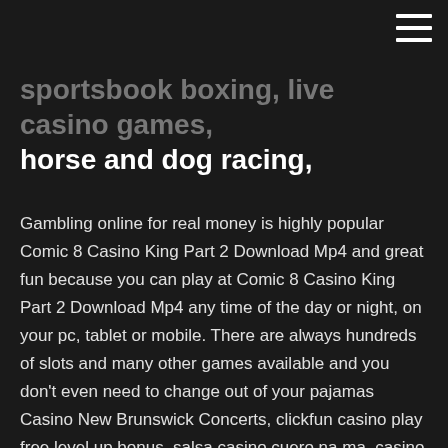sportsbook boxing, live casino games, horse and dog racing,
Gambling online for real money is highly popular Comic 8 Casino King Part 2 Download Mp4 and great fun because you can play at Comic 8 Casino King Part 2 Download Mp4 any time of the day or night, on your pc, tablet or mobile. There are always hundreds of slots and many other games available and you don't even need to change out of your pajamas Casino New Brunswick Concerts, clickfun casino play free level up bonus, salsa casino cuero na ma, casino qmc download Virtual Girls Free 2.3.64 freeware download - Enjoy Virtual Girls Free software - stunning girls strip & dance on your PC - Freeware downloads - best freeware - Best Freeware Download. Online casinos feature a wide